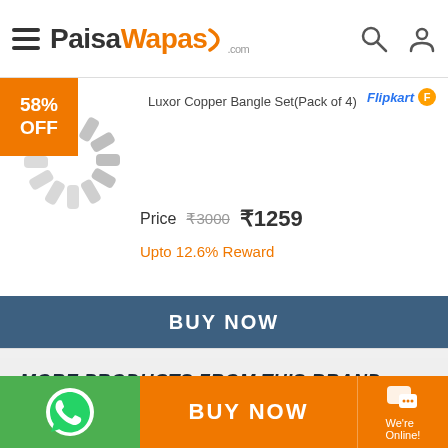PaisaWapas.com
58% OFF
Flipkart
Luxor Copper Bangle Set(Pack of 4)
Price  ₹3000  ₹1259
Upto 12.6% Reward
BUY NOW
MORE PRODUCTS FROM THIS BRAND
BUY NOW | We're Online!